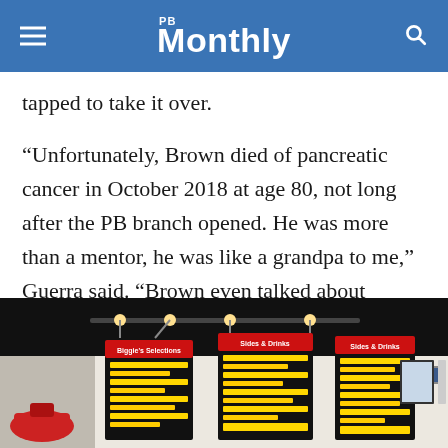PB Monthly
tapped to take it over.
“Unfortunately, Brown died of pancreatic cancer in October 2018 at age 80, not long after the PB branch opened. He was more than a mentor, he was like a grandpa to me,” Guerra said. “Brown even talked about Biggie’s on his death bed.” He told Guerra: “Don’t change anything.” Guerra has never forgotten those words.
[Figure (photo): Interior of Biggie’s restaurant showing black ceiling, track lighting, menu boards on the wall, framed photos on the right wall, and clothing/caps hanging on the left.]